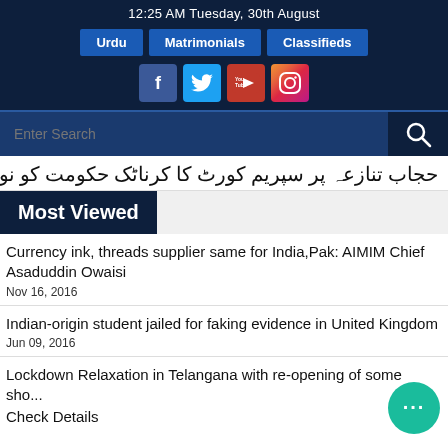12:25 AM Tuesday, 30th August
Urdu | Matrimonials | Classifieds
[Figure (screenshot): Social media icons: Facebook, Twitter, YouTube, Instagram]
Enter Search
Urdu ticker text (Arabic/Urdu script)
Most Viewed
Currency ink, threads supplier same for India,Pak: AIMIM Chief Asaduddin Owaisi
Nov 16, 2016
Indian-origin student jailed for faking evidence in United Kingdom
Jun 09, 2016
Lockdown Relaxation in Telangana with re-opening of some sho... Check Details